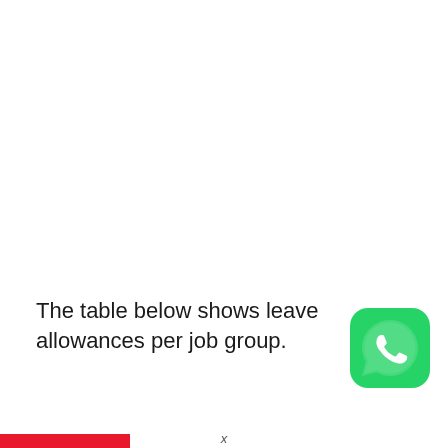The table below shows leave allowances per job group.
[Figure (logo): WhatsApp app icon — green rounded square with white phone handset in speech bubble]
x